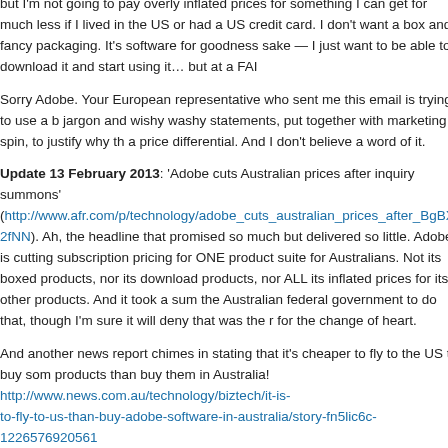but I'm not going to pay overly inflated prices for something I can get for much less if I lived in the US or had a US credit card. I don't want a box and fancy packaging. It's software for goodness sake — I just want to be able to download it and start using it… but at a FAIR price.
Sorry Adobe. Your European representative who sent me this email is trying to use a bunch of jargon and wishy washy statements, put together with marketing spin, to justify why there should be a price differential. And I don't believe a word of it.
Update 13 February 2013: 'Adobe cuts Australian prices after inquiry summons' (http://www.afr.com/p/technology/adobe_cuts_australian_prices_after_BgBXyFaCrXR... 2fNN). Ah, the headline that promised so much but delivered so little. Adobe is cutting subscription pricing for ONE product suite for Australians. Not its boxed products, nor its download products, nor ALL its inflated prices for its other products. And it took a summons from the Australian federal government to do that, though I'm sure it will deny that was the reason for the change of heart.
And another news report chimes in stating that it's cheaper to fly to the US to buy some products than buy them in Australia! http://www.news.com.au/technology/biztech/it-is-cheaper-to-fly-to-us-than-buy-adobe-software-in-australia/story-fn5lic6c-1226576920561
Update 22 March 2013: Adobe, Apple and Microsoft to explain to parliamentary committee why they charge Australians more (good infographic of geoblocking too!): http://www.news.com.au/technology/biztech/watchdog-choice-has-tough-questions-for-microsoft-and-adobe/story-fn5lic6c-1226602766888
Does Adobe think we're stupid with this response to the parliamentary committee que...